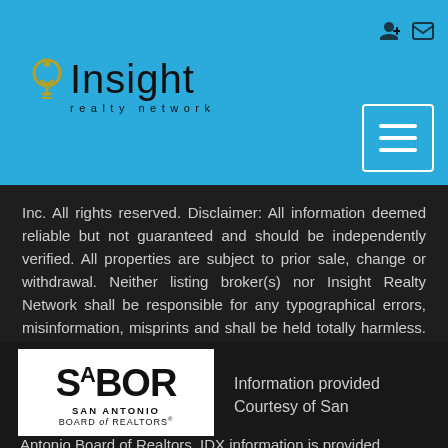[Figure (logo): Insight Realty Network logo with lightbulb icon on blue header background]
Inc. All rights reserved. Disclaimer: All information deemed reliable but not guaranteed and should be independently verified. All properties are subject to prior sale, change or withdrawal. Neither listing broker(s) nor Insight Realty Network shall be responsible for any typographical errors, misinformation, misprints and shall be held totally harmless. The database information herein is provided from and copyrighted by the North Texas Real   Show More...
[Figure (logo): SABOR San Antonio Board of Realtors logo]
Information provided Courtesy of San Antonio Board of Realtors. IDX information is provided exclusively